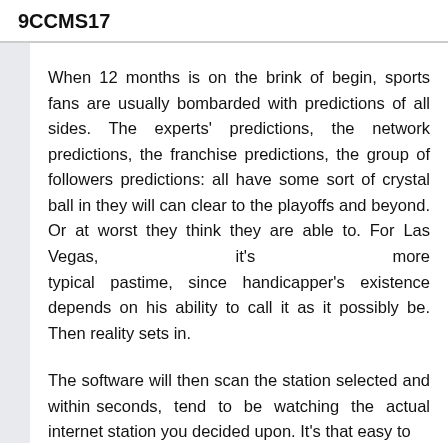9CCMS17
When 12 months is on the brink of begin, sports fans are usually bombarded with predictions of all sides. The experts' predictions, the network predictions, the franchise predictions, the group of followers predictions: all have some sort of crystal ball in they will can clear to the playoffs and beyond. Or at worst they think they are able to. For Las Vegas, it's more typical pastime, since handicapper's existence depends on his ability to call it as it possibly be. Then reality sets in.
The software will then scan the station selected and within seconds, tend to be watching the actual internet station you decided upon. It's that easy to